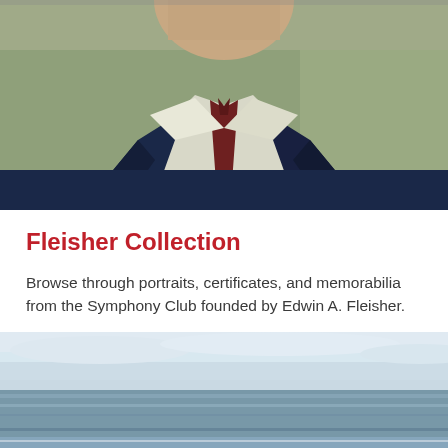[Figure (photo): Painted portrait of a man in a dark navy suit with white shirt and dark red tie, shown from chest up, against a muted green-gray background. The style is oil painting.]
Fleisher Collection
Browse through portraits, certificates, and memorabilia from the Symphony Club founded by Edwin A. Fleisher.
[Figure (photo): Painted seascape showing ocean waves and a pale blue sky with clouds near the horizon.]